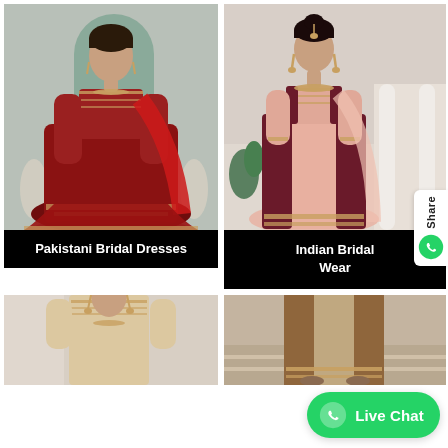[Figure (photo): Woman wearing Pakistani bridal dress - red and gold embroidered lehenga with dupatta]
Pakistani Bridal Dresses
[Figure (photo): Woman wearing Indian bridal wear - pink and maroon embroidered lehenga]
Indian Bridal Wear
[Figure (photo): Partial view of Pakistani/Indian bridal outfit]
[Figure (photo): Partial view of bridal outfit with accessories]